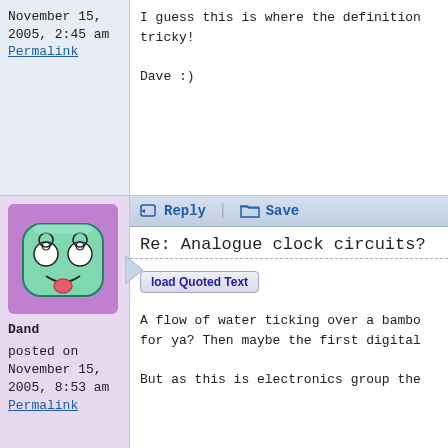November 15, 2005, 2:45 am
Permalink
I guess this is where the definition tricky!

Dave :)
[Figure (illustration): Cartoon avatar of a green marshmallow-like character with spiral eyes and a tongue sticking out, on a purple background]
Dand
posted on November 15, 2005, 8:53 am
Permalink
Reply   Save
Re: Analogue clock circuits?
load Quoted Text
A flow of water ticking over a bambo for ya? Then maybe the first digital
But as this is electronics group the